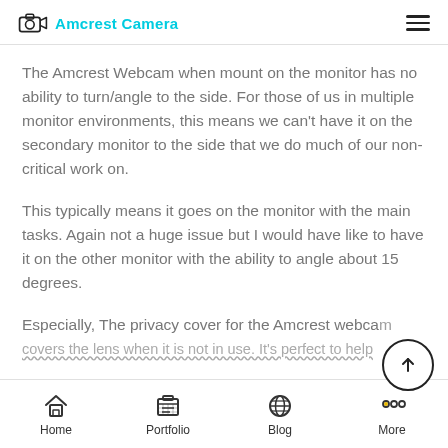Amcrest Camera
The Amcrest Webcam when mount on the monitor has no ability to turn/angle to the side. For those of us in multiple monitor environments, this means we can't have it on the secondary monitor to the side that we do much of our non-critical work on.
This typically means it goes on the monitor with the main tasks. Again not a huge issue but I would have like to have it on the other monitor with the ability to angle about 15 degrees.
Especially, The privacy cover for the Amcrest webcam covers the lens when it is not in use. It's perfect to help
Home   Portfolio   Blog   More